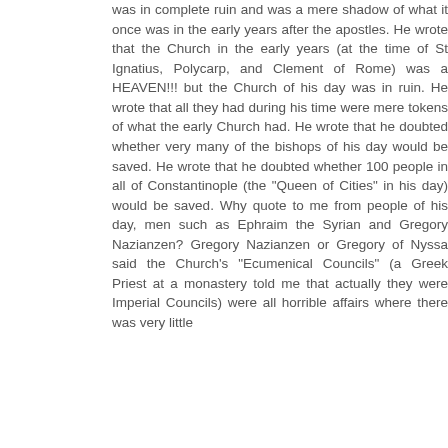was in complete ruin and was a mere shadow of what it once was in the early years after the apostles. He wrote that the Church in the early years (at the time of St Ignatius, Polycarp, and Clement of Rome) was a HEAVEN!!! but the Church of his day was in ruin. He wrote that all they had during his time were mere tokens of what the early Church had. He wrote that he doubted whether very many of the bishops of his day would be saved. He wrote that he doubted whether 100 people in all of Constantinople (the "Queen of Cities" in his day) would be saved. Why quote to me from people of his day, men such as Ephraim the Syrian and Gregory Nazianzen? Gregory Nazianzen or Gregory of Nyssa said the Church's "Ecumenical Councils" (a Greek Priest at a monastery told me that actually they were Imperial Councils) were all horrible affairs where there was very little